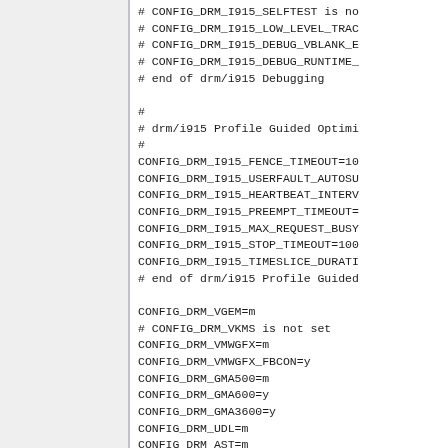# CONFIG_DRM_I915_SELFTEST is no
# CONFIG_DRM_I915_LOW_LEVEL_TRAC
# CONFIG_DRM_I915_DEBUG_VBLANK_E
# CONFIG_DRM_I915_DEBUG_RUNTIME_
# end of drm/i915 Debugging

#
# drm/i915 Profile Guided Optimi
#
CONFIG_DRM_I915_FENCE_TIMEOUT=10
CONFIG_DRM_I915_USERFAULT_AUTOSU
CONFIG_DRM_I915_HEARTBEAT_INTERV
CONFIG_DRM_I915_PREEMPT_TIMEOUT=
CONFIG_DRM_I915_MAX_REQUEST_BUSY
CONFIG_DRM_I915_STOP_TIMEOUT=100
CONFIG_DRM_I915_TIMESLICE_DURATI
# end of drm/i915 Profile Guided

CONFIG_DRM_VGEM=m
# CONFIG_DRM_VKMS is not set
CONFIG_DRM_VMWGFX=m
CONFIG_DRM_VMWGFX_FBCON=y
CONFIG_DRM_GMA500=m
CONFIG_DRM_GMA600=y
CONFIG_DRM_GMA3600=y
CONFIG_DRM_UDL=m
CONFIG_DRM_AST=m
CONFIG_DRM_MGAG200=m
CONFIG_DRM_QXL=m
CONFIG_DRM_BOCHS=m
CONFIG_DRM_VIRTIO_GPU=m
CONFIG_DRM_PANEL=y